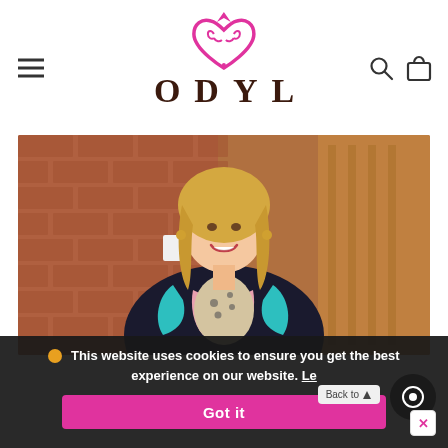[Figure (logo): ODYL brand logo with pink ornate heart/crown SVG icon above the text ODYL in dark brown serif letters. Menu hamburger icon on left, search and bag icons on right.]
[Figure (photo): Woman with blonde hair wearing a colorful paisley and animal print blouse, smiling, standing in front of a brick wall and wooden doors.]
This website uses cookies to ensure you get the best experience on our website. Le...
Got it